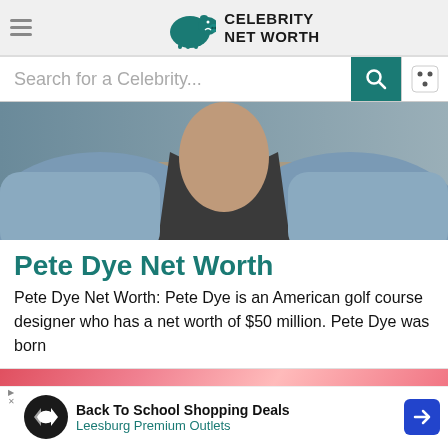Celebrity Net Worth
Search for a Celebrity...
[Figure (photo): Photo of Pete Dye, partial view showing neck and upper torso wearing a blue jacket and dark shirt]
Pete Dye Net Worth
Pete Dye Net Worth: Pete Dye is an American golf course designer who has a net worth of $50 million. Pete Dye was born
[Figure (photo): Advertisement banner - Back To School Shopping Deals at Leesburg Premium Outlets]